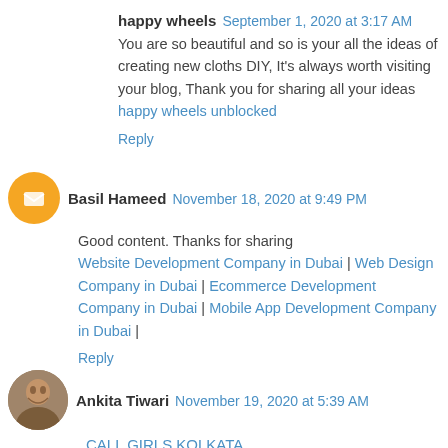happy wheels  September 1, 2020 at 3:17 AM
You are so beautiful and so is your all the ideas of creating new cloths DIY, It's always worth visiting your blog, Thank you for sharing all your ideas happy wheels unblocked
Reply
Basil Hameed  November 18, 2020 at 9:49 PM
Good content. Thanks for sharing
Website Development Company in Dubai | Web Design Company in Dubai | Ecommerce Development Company in Dubai | Mobile App Development Company in Dubai |
Reply
Ankita Tiwari  November 19, 2020 at 5:39 AM
CALL GIRLS KOLKATA